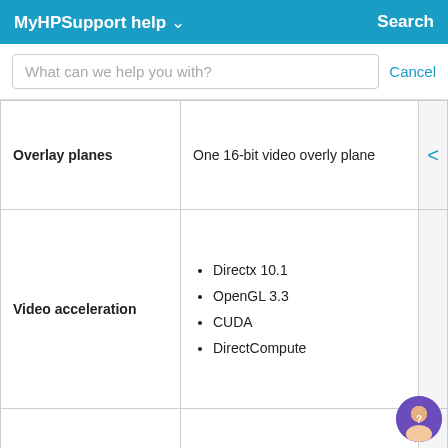MyHPSupport help   Search
What can we help you with?   Cancel
| Feature | Details |
| --- | --- |
| Overlay planes | One 16-bit video overly plane |
| Video acceleration | Directx 10.1 • OpenGL 3.3 • CUDA • DirectCompute |
| Supported Graphics APIs | OpenGL 3.3 support in hardware • DirectX 10.0 support in hardware |